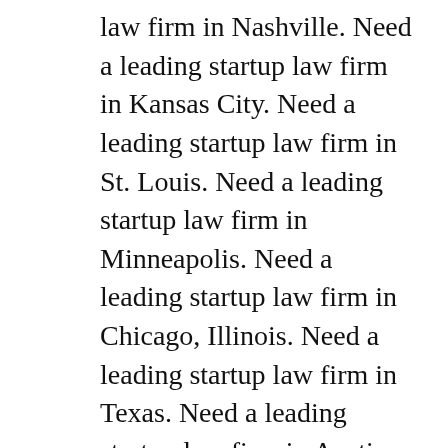law firm in Nashville. Need a leading startup law firm in Kansas City. Need a leading startup law firm in St. Louis. Need a leading startup law firm in Minneapolis. Need a leading startup law firm in Chicago, Illinois. Need a leading startup law firm in Texas. Need a leading startup law firm in Austin. Need a leading startup law firm in Dallas. Need a leading startup law firm in Houston. Need a leading startup law firm in San Antonio. Need a leading startup law firm in Phoenix, Arizona. Need a leading startup law firm in Salt Lake City, Utah. Need a leading startup law firm in Boulder, Denver, Colorado. Need a leading startup law firm in Seattle. Need a leading startup law firm in San Francisco, Silicon Valley, San Jose, Los Angeles, Orange County, San Diego,